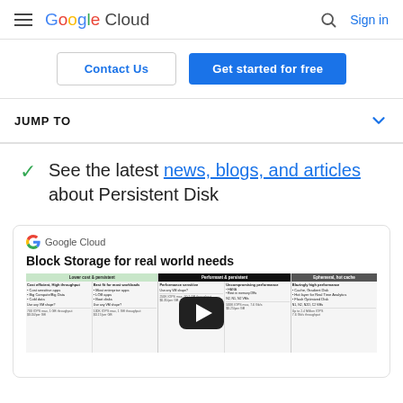Google Cloud  Sign in
Contact Us  |  Get started for free
JUMP TO
See the latest news, blogs, and articles about Persistent Disk
[Figure (screenshot): Google Cloud video thumbnail showing 'Block Storage for real world needs' with a table comparing storage options and a YouTube play button overlay]